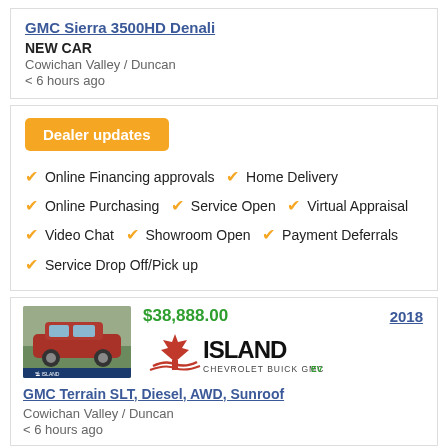GMC Sierra 3500HD Denali
NEW CAR
Cowichan Valley / Duncan
< 6 hours ago
Dealer updates
Online Financing approvals
Home Delivery
Online Purchasing
Service Open
Virtual Appraisal
Video Chat
Showroom Open
Payment Deferrals
Service Drop Off/Pick up
$38,888.00
[Figure (logo): Island Chevrolet Buick GMC EV logo with red maple leaf]
2018
GMC Terrain SLT, Diesel, AWD, Sunroof
Cowichan Valley / Duncan
< 6 hours ago
Dealer updates